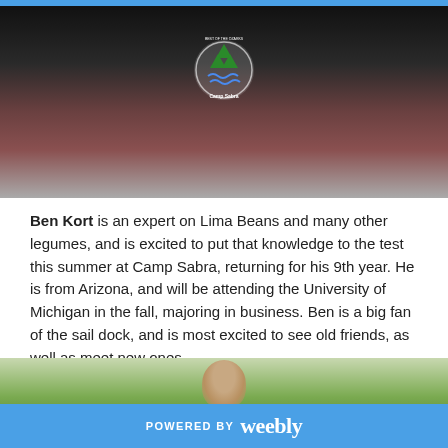[Figure (photo): Top portion of a person wearing a dark Camp Sabra t-shirt with logo, upper body partially visible, dark background]
Ben Kort is an expert on Lima Beans and many other legumes, and is excited to put that knowledge to the test this summer at Camp Sabra, returning for his 9th year. He is from Arizona, and will be attending the University of Michigan in the fall, majoring in business. Ben is a big fan of the sail dock, and is most excited to see old friends, as well as meet new ones.
[Figure (photo): Young man with curly brown hair outdoors with green trees in background]
POWERED BY weebly